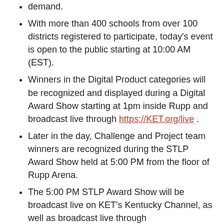demand.
With more than 400 schools from over 100 districts registered to participate, today’s event is open to the public starting at 10:00 AM (EST).
Winners in the Digital Product categories will be recognized and displayed during a Digital Award Show starting at 1pm inside Rupp and broadcast live through https://KET.org/live .
Later in the day, Challenge and Project team winners are recognized during the STLP Award Show held at 5:00 PM from the floor of Rupp Arena.
The 5:00 PM STLP Award Show will be broadcast live on KET’s Kentucky Channel, as well as broadcast live through https://KET.org/live .
For the very first time, the Kentucky Board of Education (KBE) and the Kentucky Valley Educational Cooperative (KVEC) will have their board meeting at the STLP state championship and will observe the environment and competitions.
Visit “STLP.Live” in your browser to get all details during the day.
We’ll be showing live looks at each of the new